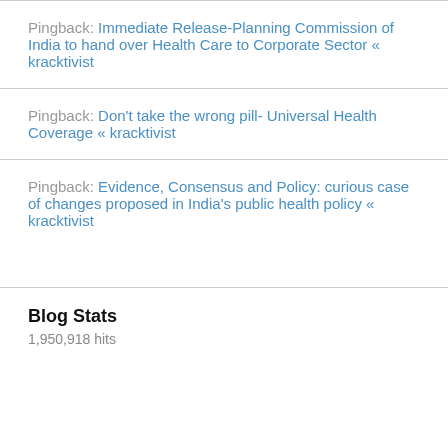Pingback: Immediate Release-Planning Commission of India to hand over Health Care to Corporate Sector « kracktivist
Pingback: Don't take the wrong pill- Universal Health Coverage « kracktivist
Pingback: Evidence, Consensus and Policy: curious case of changes proposed in India's public health policy « kracktivist
Blog Stats
1,950,918 hits